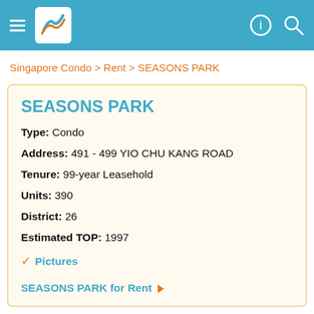Navigation header with menu, logo, and search icons
Singapore Condo > Rent > SEASONS PARK
SEASONS PARK
Type: Condo
Address: 491 - 499 YIO CHU KANG ROAD
Tenure: 99-year Leasehold
Units: 390
District: 26
Estimated TOP: 1997
✓ Pictures
SEASONS PARK for Rent ▶